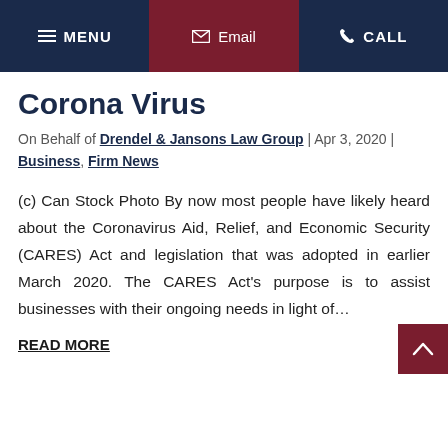MENU | Email | CALL
Corona Virus
On Behalf of Drendel & Jansons Law Group | Apr 3, 2020 | Business, Firm News
(c) Can Stock Photo By now most people have likely heard about the Coronavirus Aid, Relief, and Economic Security (CARES) Act and legislation that was adopted in earlier March 2020. The CARES Act's purpose is to assist businesses with their ongoing needs in light of...
READ MORE